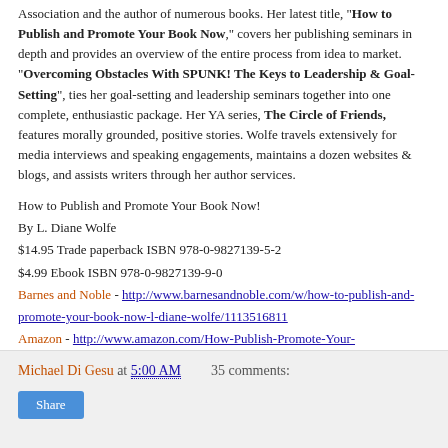Association and the author of numerous books. Her latest title, "How to Publish and Promote Your Book Now," covers her publishing seminars in depth and provides an overview of the entire process from idea to market. "Overcoming Obstacles With SPUNK! The Keys to Leadership & Goal-Setting", ties her goal-setting and leadership seminars together into one complete, enthusiastic package. Her YA series, The Circle of Friends, features morally grounded, positive stories. Wolfe travels extensively for media interviews and speaking engagements, maintains a dozen websites & blogs, and assists writers through her author services.
How to Publish and Promote Your Book Now!
By L. Diane Wolfe
$14.95 Trade paperback ISBN 978-0-9827139-5-2
$4.99 Ebook ISBN 978-0-9827139-9-0
Barnes and Noble - http://www.barnesandnoble.com/w/how-to-publish-and-promote-your-book-now-l-diane-wolfe/1113516811
Amazon - http://www.amazon.com/How-Publish-Promote-Your-Book/dp/0982713959/ref=sr_1_1?s=books&ie=UTF8&qid=1359139094&sr=1-1&keywords=9780982713952
Amazon Kindle - http://www.amazon.com/Publish-Promote-Your-Book-ebook/dp/B00B8X5WEM/ref=sr_1_8?s=books&ie=UTF8&qid=1359715649&sr=1-8
Michael Di Gesu at 5:00 AM    35 comments: